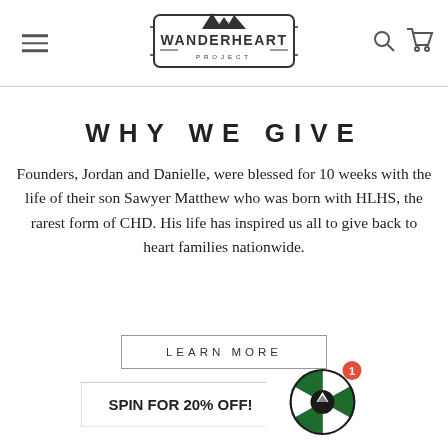The Wanderheart Project — navigation header with hamburger menu, logo, search and cart icons
WHY WE GIVE
Founders, Jordan and Danielle, were blessed for 10 weeks with the life of their son Sawyer Matthew who was born with HLHS, the rarest form of CHD. His life has inspired us all to give back to heart families nationwide.
[Figure (other): LEARN MORE button — rectangular outlined button with spaced uppercase text]
[Figure (other): SPIN FOR 20% OFF! call-to-action button with arrow shape and a spinning prize wheel icon with red badge showing 1]